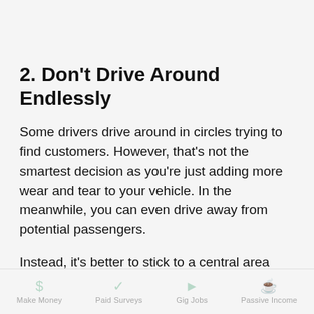2. Don't Drive Around Endlessly
Some drivers drive around in circles trying to find customers. However, that's not the smartest decision as you're just adding more wear and tear to your vehicle. In the meanwhile, you can even drive away from potential passengers.
Instead, it's better to stick to a central area and avoid suburbs if possible.
Make Money   Paid Surveys   Gig Jobs   Passive Income